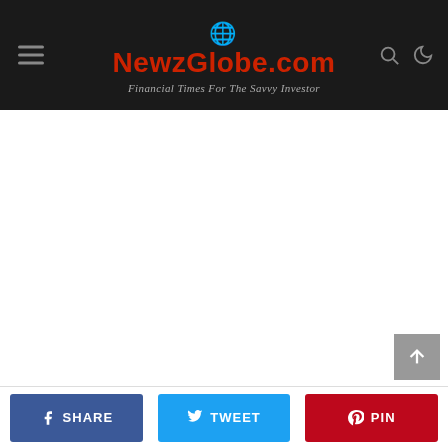NewzGlobe.com — Financial Times For The Savvy Investor
SHARE  TWEET  PIN